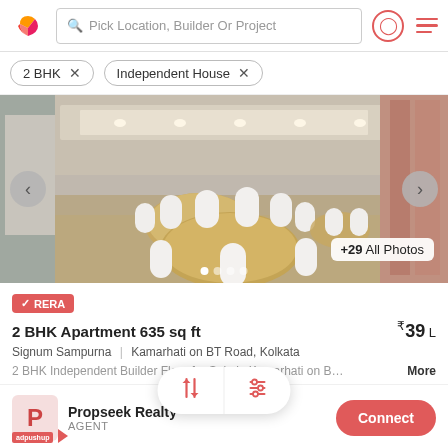Pick Location, Builder Or Project
2 BHK ×
Independent House ×
[Figure (photo): Interior photo of a banquet hall with round tables set with white chair covers and golden tablecloths, with recessed ceiling lighting. Navigation arrows on left and right.]
✓ RERA
2 BHK Apartment 635 sq ft
₹39 L
Signum Sampurna  |  Kamarhati on BT Road, Kolkata
2 BHK Independent Builder Floor for Sale in Kamarhati on B…  More
Propseek Realty
AGENT
Connect